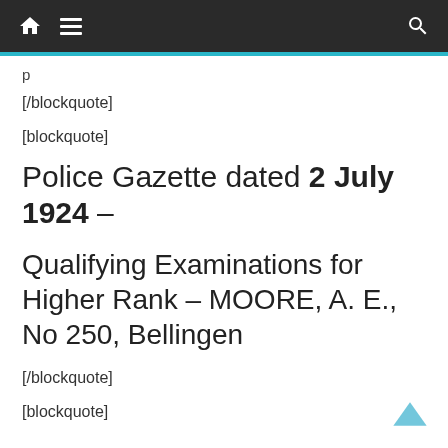Navigation bar with home, menu, and search icons
[/blockquote]
[blockquote]
Police Gazette dated 2 July 1924 –
Qualifying Examinations for Higher Rank – MOORE, A. E., No 250, Bellingen
[/blockquote]
[blockquote]